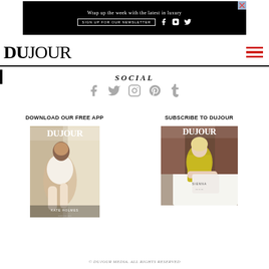[Figure (other): Black advertisement banner: 'Wrap up the week with the latest in luxury' with SIGN UP FOR OUR NEWSLETTER button and social icons, with X close button]
[Figure (logo): DUJOUR magazine logo in large serif font, with hamburger menu icon in red on right]
SOCIAL
[Figure (other): Row of social media icons: Facebook, Twitter, Instagram, Pinterest, Tumblr in gray]
DOWNLOAD OUR FREE APP
[Figure (photo): DuJour magazine cover for app download - woman in white outfit]
SUBSCRIBE TO DUJOUR
[Figure (photo): DuJour magazine cover for subscribe - woman at table in yellow]
© DUJOUR MEDIA. ALL RIGHTS RESERVED